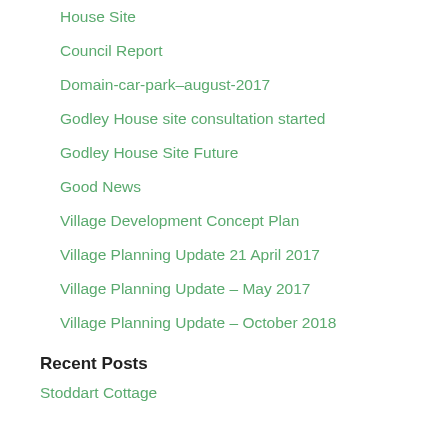House Site
Council Report
Domain-car-park–august-2017
Godley House site consultation started
Godley House Site Future
Good News
Village Development Concept Plan
Village Planning Update 21 April 2017
Village Planning Update – May 2017
Village Planning Update – October 2018
Recent Posts
Stoddart Cottage